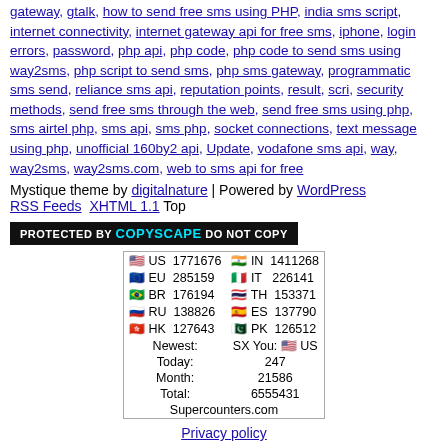gateway, gtalk, how to send free sms using PHP, india sms script, internet connectivity, internet gateway api for free sms, iphone, login errors, password, php api, php code, php code to send sms using way2sms, php script to send sms, php sms gateway, programmatic sms send, reliance sms api, reputation points, result, scri, security methods, send free sms through the web, send free sms using php, sms airtel php, sms api, sms php, socket connections, text message using php, unofficial 160by2 api, Update, vodafone sms api, way, way2sms, way2sms.com, web to sms api for free
Mystique theme by digitalnature | Powered by WordPress RSS Feeds XHTML 1.1 Top
[Figure (other): Protected by Copyscape Do Not Copy badge]
| 🇺🇸 US 1771676 | 🇮🇳 IN 1411268 |
| 🇪🇺 EU 285159 | 🇮🇹 IT 226141 |
| 🇧🇷 BR 176194 | 🇹🇭 TH 153371 |
| 🇷🇺 RU 138826 | 🇪🇸 ES 137790 |
| 🇭🇰 HK 127643 | 🇵🇰 PK 126512 |
| Newest: | SX You: 🇺🇸 US |
| Today: | 247 |
| Month: | 21586 |
| Total: | 6555431 |
| Supercounters.com |  |
Privacy policy
Find me on Google+